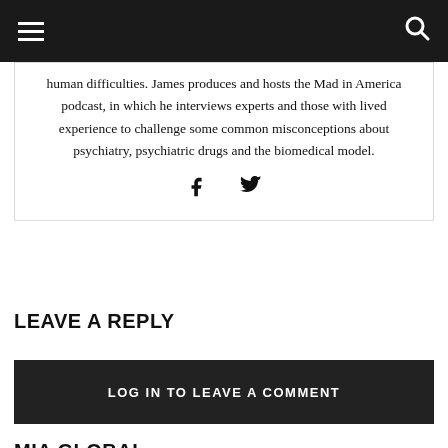Mad in America website header navigation
human difficulties. James produces and hosts the Mad in America podcast, in which he interviews experts and those with lived experience to challenge some common misconceptions about psychiatry, psychiatric drugs and the biomedical model.
[Figure (other): Facebook and Twitter social media icons]
LEAVE A REPLY
LOG IN TO LEAVE A COMMENT
MIA GLOBAL